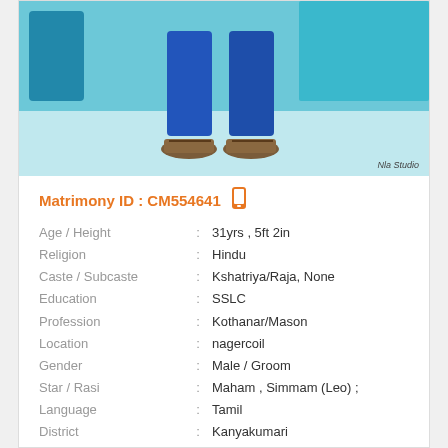[Figure (photo): Lower body of a person wearing blue clothing and sandals, standing against a light blue/teal background. Watermark reads 'Nla Studio' in bottom right.]
Matrimony ID : CM554641
| Field | Colon | Value |
| --- | --- | --- |
| Age / Height | : | 31yrs , 5ft 2in |
| Religion | : | Hindu |
| Caste / Subcaste | : | Kshatriya/Raja, None |
| Education | : | SSLC |
| Profession | : | Kothanar/Mason |
| Location | : | nagercoil |
| Gender | : | Male / Groom |
| Star / Rasi | : | Maham , Simmam (Leo) ; |
| Language | : | Tamil |
| District | : | Kanyakumari |
| State | : | Tamil Nadu |
| Country | : | India |